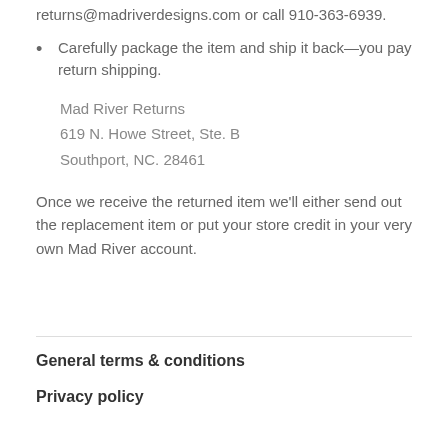returns@madriverdesigns.com or call 910-363-6939.
Carefully package the item and ship it back—you pay return shipping.
Mad River Returns
619 N. Howe Street, Ste. B
Southport, NC. 28461
Once we receive the returned item we'll either send out the replacement item or put your store credit in your very own Mad River account.
General terms & conditions
Privacy policy